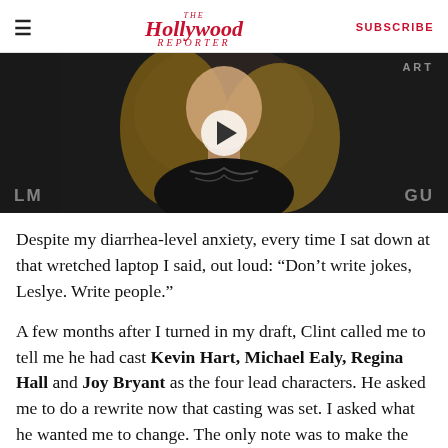The Hollywood Reporter | SUBSCRIBE
[Figure (photo): Video thumbnail showing a blonde woman in a black embroidered dress at what appears to be an event, with play button overlay and partial text 'LM' on left and 'GU' on right, 'ART' top right]
Despite my diarrhea-level anxiety, every time I sat down at that wretched laptop I said, out loud: “Don’t write jokes, Leslye. Write people.”
A few months after I turned in my draft, Clint called me to tell me he had cast Kevin Hart, Michael Ealy, Regina Hall and Joy Bryant as the four lead characters. He asked me to do a rewrite now that casting was set. I asked what he wanted me to change. The only note was to make the secondary